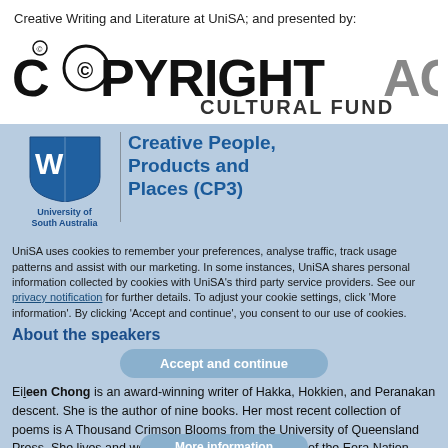Creative Writing and Literature at UniSA; and presented by:
[Figure (logo): Copyright Agency Cultural Fund logo with stylized C and copyright symbol]
[Figure (logo): University of South Australia logo with blue shield icon]
Creative People, Products and Places (CP3)
UniSA uses cookies to remember your preferences, analyse traffic, track usage patterns and assist with our marketing. In some instances, UniSA shares personal information collected by cookies with UniSA's third party service providers. See our privacy notification for further details. To adjust your cookie settings, click 'More information'. By clicking 'Accept and continue', you consent to our use of cookies.
About the speakers
Accept and continue
More information
Eileen Chong is an award-winning writer of Hakka, Hokkien, and Peranakan descent. She is the author of nine books. Her most recent collection of poems is A Thousand Crimson Blooms from the University of Queensland Press. She lives and works on unceded Gadigal land of the Eora Nation.
TOP